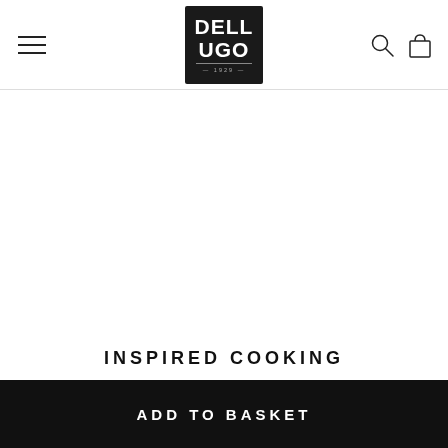[Figure (logo): Dell Ugo brand logo — white text on dark square background with year 1929]
INSPIRED COOKING
Find a recipe and be inspired to create a delicious pasta or
ADD TO BASKET